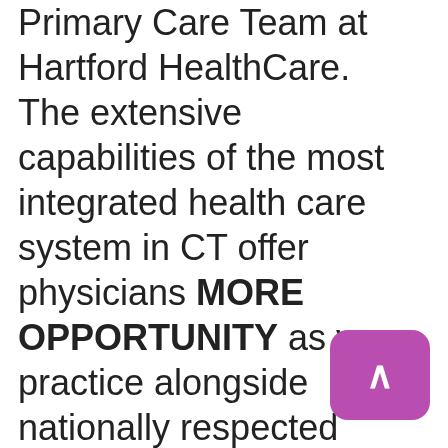Primary Care Team at Hartford HealthCare.  The extensive capabilities of the most integrated health care system in CT offer physicians MORE OPPORTUNITY as you practice alongside nationally respected colleagues in a progressive, physician led environment.  Our broad network includes seven acute care hospitals including one of